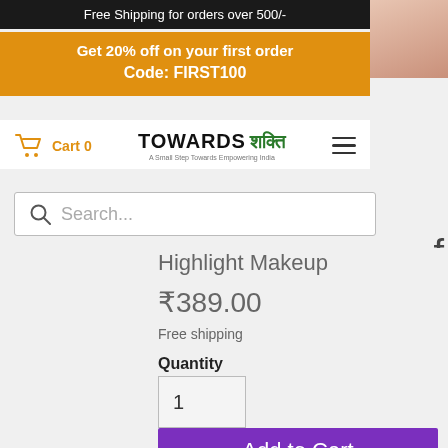Free Shipping for orders over 500/-
Get 20% off on your first order
Code: FIRST100
Cart 0
[Figure (logo): TOWARDS logo with Hindi text and tagline 'A Small Step Towards Empowering India']
Highlight Makeup
₹389.00
Free shipping
Quantity
1
Add to Cart